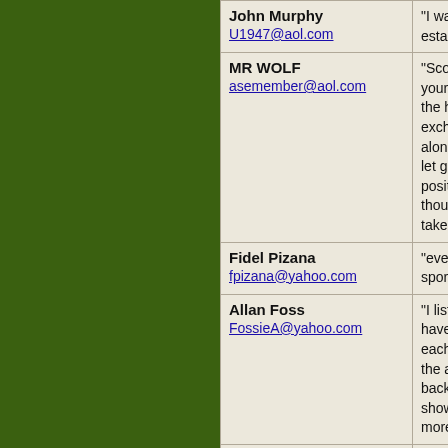| Name/Email | Comment |
| --- | --- |
| John Murphy
U1947@aol.com | "I was wro... established..." |
| MR WOLF
asemember@aol.com | "Scott: Am your radio s the hurt! I w exchange w along so he let go. It is positive dir thought cou take this a" |
| Fidel Pizana
fpizana@yahoo.com | "everybody sports new" |
| Allan Foss
FossieA@yahoo.com | "I listened t have xm ra each of you the air. I ple back on the show your s more Dogd" |
| Melanie Davis
melaniecdavis@icloud.com | "Hey Sco the guy t whil" |